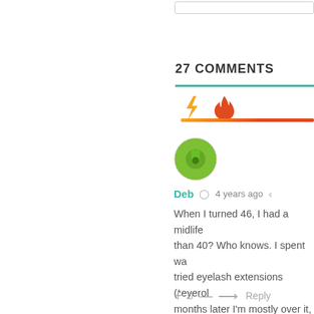27 COMMENTS
[Figure (other): Comment sorting icons: lightning bolt (yellow/orange) and fire (red-orange) with a gradient bar below]
[Figure (other): Green circular avatar with leaf/nature icon for user Deb]
Deb  4 years ago
When I turned 46, I had a midlife than 40? Who knows. I spent wa tried eyelash extensions (*eyerol months later I'm mostly over it, re sucks, but it has the side benefit to keep me up at night, and that's
+ 0 —  Reply